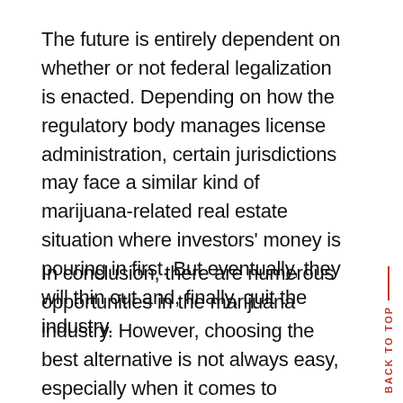The future is entirely dependent on whether or not federal legalization is enacted. Depending on how the regulatory body manages license administration, certain jurisdictions may face a similar kind of marijuana-related real estate situation where investors' money is pouring in first. But eventually, they will thin out and, finally, quit the industry.
In conclusion, there are numerous opportunities in the marijuana industry. However, choosing the best alternative is not always easy, especially when it comes to selecting a location. Having an experienced staff that understands the regulatory